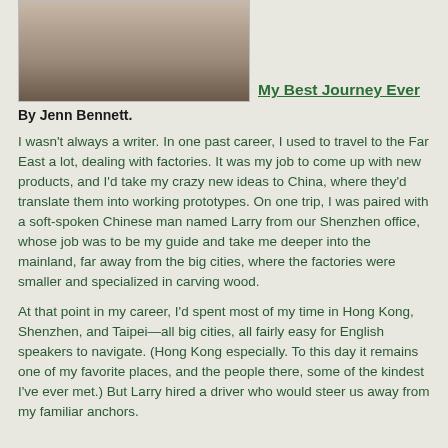[Figure (photo): Portrait photo of a woman with curly hair wearing a green jacket]
My Best Journey Ever
By Jenn Bennett.
I wasn't always a writer. In one past career, I used to travel to the Far East a lot, dealing with factories. It was my job to come up with new products, and I'd take my crazy new ideas to China, where they'd translate them into working prototypes. On one trip, I was paired with a soft-spoken Chinese man named Larry from our Shenzhen office, whose job was to be my guide and take me deeper into the mainland, far away from the big cities, where the factories were smaller and specialized in carving wood.
At that point in my career, I'd spent most of my time in Hong Kong, Shenzhen, and Taipei—all big cities, all fairly easy for English speakers to navigate. (Hong Kong especially. To this day it remains one of my favorite places, and the people there, some of the kindest I've ever met.) But Larry hired a driver who would steer us away from my familiar anchors.